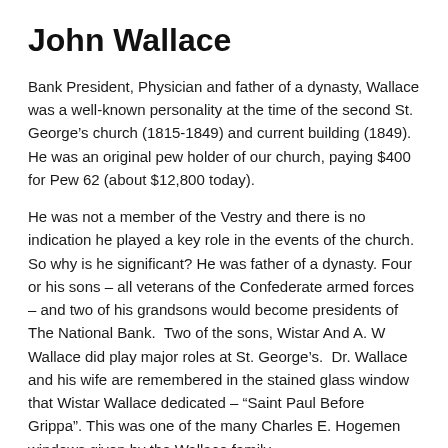John Wallace
Bank President, Physician and father of a dynasty, Wallace was a well-known personality at the time of the second St. George’s church (1815-1849) and current building (1849). He was an original pew holder of our church, paying $400 for Pew 62 (about $12,800 today).
He was not a member of the Vestry and there is no indication he played a key role in the events of the church. So why is he significant? He was father of a dynasty. Four or his sons – all veterans of the Confederate armed forces – and two of his grandsons would become presidents of The National Bank. Two of the sons, Wistar And A. W Wallace did play major roles at St. George’s. Dr. Wallace and his wife are remembered in the stained glass window that Wistar Wallace dedicated – “Saint Paul Before Grippa”. This was one of the many Charles E. Hogemen windows given by the Wallace family